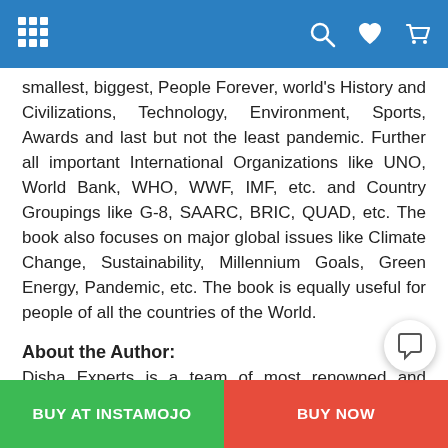[Navigation header with grid, search, heart, and cart icons]
smallest, biggest, People Forever, world's History and Civilizations, Technology, Environment, Sports, Awards and last but not the least pandemic. Further all important International Organizations like UNO, World Bank, WHO, WWF, IMF, etc. and Country Groupings like G-8, SAARC, BRIC, QUAD, etc. The book also focuses on major global issues like Climate Change, Sustainability, Millennium Goals, Green Energy, Pandemic, etc. The book is equally useful for people of all the countries of the World.
About the Author:
Disha Experts is a team of most renowned and prolific content writers pioneering in School and Test Prep segments (Competitive Exams & Government Vacancies). It consists of more than 30 experts comprising of PhDs, B-Techs, PGs, etc. working full time with decades of experience in various academic and competitive
BUY AT INSTAMOJO | BUY NOW